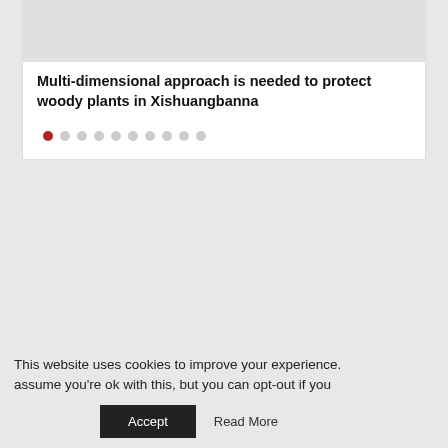[Figure (photo): Gray placeholder image at top of article card]
Multi-dimensional approach is needed to protect woody plants in Xishuangbanna
● ○ ○ ○ ○ ○ ○ ○ ○ ○ (carousel dots indicator, first dot active)
This website uses cookies to improve your experience. assume you're ok with this, but you can opt-out if you
Accept   Read More